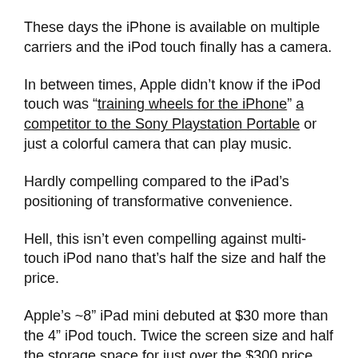These days the iPhone is available on multiple carriers and the iPod touch finally has a camera.
In between times, Apple didn’t know if the iPod touch was “training wheels for the iPhone” a competitor to the Sony Playstation Portable or just a colorful camera that can play music.
Hardly compelling compared to the iPad’s positioning of transformative convenience.
Hell, this isn’t even compelling against multi-touch iPod nano that’s half the size and half the price.
Apple’s ~8” iPad mini debuted at $30 more than the 4” iPod touch. Twice the screen size and half the storage space for just over the $300 price point. For an additional charge, a persistent cellular broadband connection is available through AT&T or Verizon.